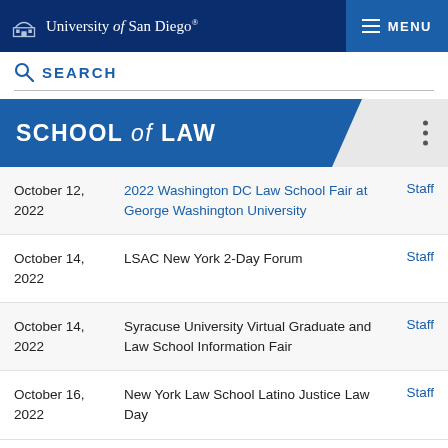University of San Diego — MENU
SEARCH
SCHOOL of LAW
October 12, 2022 | 2022 Washington DC Law School Fair at George Washington University | Staff
October 14, 2022 | LSAC New York 2-Day Forum | Staff
October 14, 2022 | Syracuse University Virtual Graduate and Law School Information Fair | Staff
October 16, 2022 | New York Law School Latino Justice Law Day | Staff